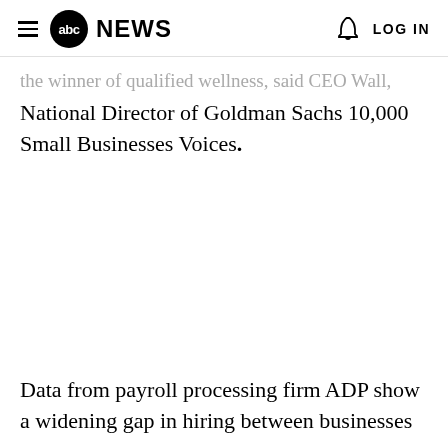abc NEWS  LOG IN
...the winner of qualified wellness, said CEO Wall, National Director of Goldman Sachs 10,000 Small Businesses Voices.
Data from payroll processing firm ADP show a widening gap in hiring between businesses